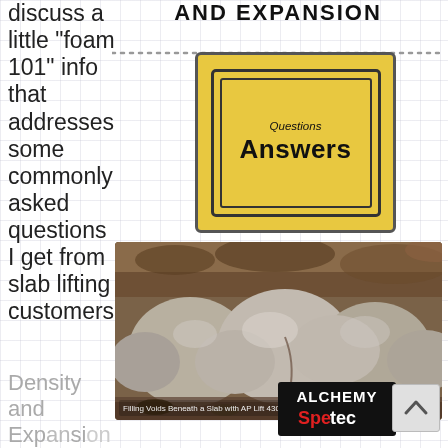AND EXPANSION
discuss a little "foam 101" info that addresses some commonly asked questions I get from slab lifting customers:
[Figure (photo): Yellow road sign style image with 'Questions' in italic above 'Answers' in bold black text on yellow background with black border]
[Figure (photo): Photo of foam filling voids beneath a slab - AP Lift 430 Foam expanding in soil/dirt. Caption: 'Filling Voids Beneath a Slab with AP Lift 430 Foam']
[Figure (logo): Alchemy-Spetec logo: black background with white 'ALCHEMY' text, red 'Spe' and black 'tec' text]
Density and Expansion